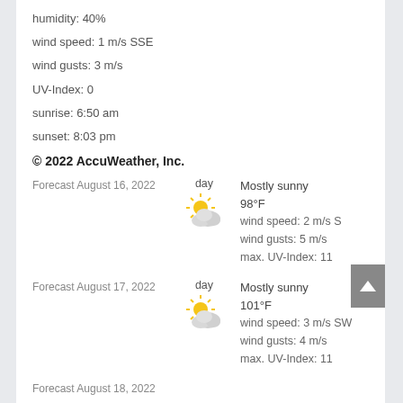humidity: 40%
wind speed: 1 m/s SSE
wind gusts: 3 m/s
UV-Index: 0
sunrise: 6:50 am
sunset: 8:03 pm
© 2022 AccuWeather, Inc.
Forecast August 16, 2022 — day — Mostly sunny — 98°F — wind speed: 2 m/s S — wind gusts: 5 m/s — max. UV-Index: 11
Forecast August 17, 2022 — day — Mostly sunny — 101°F — wind speed: 3 m/s SW — wind gusts: 4 m/s — max. UV-Index: 11
Forecast August 18, 2022